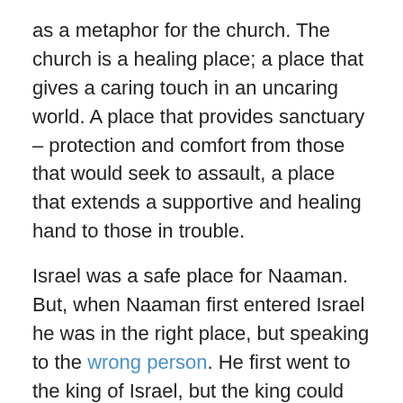as a metaphor for the church. The church is a healing place; a place that gives a caring touch in an uncaring world. A place that provides sanctuary – protection and comfort from those that would seek to assault, a place that extends a supportive and healing hand to those in trouble.
Israel was a safe place for Naaman. But, when Naaman first entered Israel he was in the right place, but speaking to the wrong person. He first went to the king of Israel, but the king could not help him. In fact, the king misunderstood his coming all together and thought Naaman was trying to pick a fight.   We will look more at this story in the next post.
Darrell
www.Upwards.Church